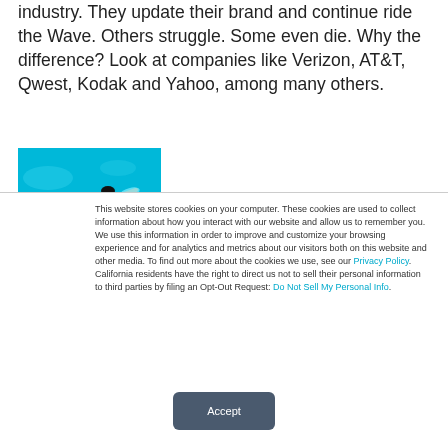industry. They update their brand and continue ride the Wave. Others struggle. Some even die. Why the difference? Look at companies like Verizon, AT&T, Qwest, Kodak and Yahoo, among many others.
[Figure (photo): A swimmer in a pool, aerial view, wearing a black swimsuit, swimming through blue water with a green lane divider visible.]
This website stores cookies on your computer. These cookies are used to collect information about how you interact with our website and allow us to remember you. We use this information in order to improve and customize your browsing experience and for analytics and metrics about our visitors both on this website and other media. To find out more about the cookies we use, see our Privacy Policy. California residents have the right to direct us not to sell their personal information to third parties by filing an Opt-Out Request: Do Not Sell My Personal Info.